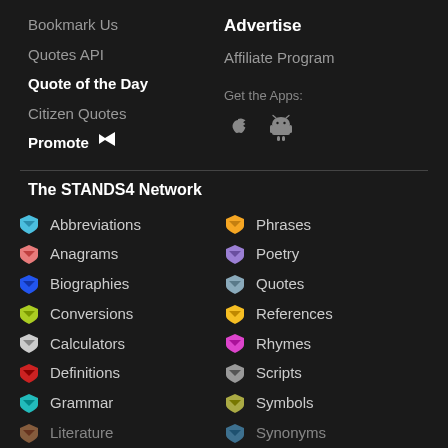Bookmark Us
Advertise
Quotes API
Affiliate Program
Quote of the Day
Citizen Quotes
Promote
Get the Apps:
The STANDS4 Network
Abbreviations
Phrases
Anagrams
Poetry
Biographies
Quotes
Conversions
References
Calculators
Rhymes
Definitions
Scripts
Grammar
Symbols
Literature
Synonyms